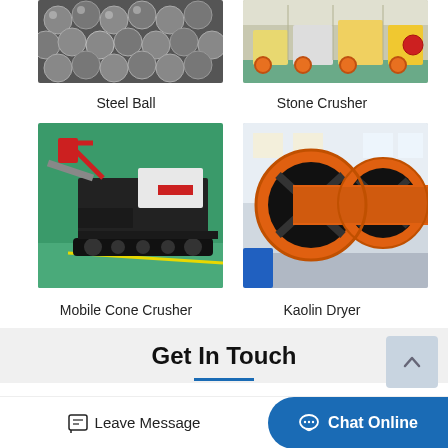[Figure (photo): Steel balls - large pile of shiny metallic spheres]
Steel Ball
[Figure (photo): Stone crusher machines in a factory/warehouse setting]
Stone Crusher
[Figure (photo): Mobile cone crusher machine on tracks in a factory]
Mobile Cone Crusher
[Figure (photo): Orange kaolin dryer cylinders lying in warehouse]
Kaolin Dryer
Get In Touch
Leave Message
Chat Online